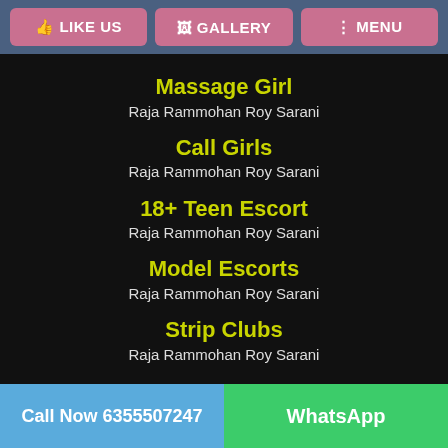LIKE US | GALLERY | MENU
Massage Girl
Raja Rammohan Roy Sarani
Call Girls
Raja Rammohan Roy Sarani
18+ Teen Escort
Raja Rammohan Roy Sarani
Model Escorts
Raja Rammohan Roy Sarani
Strip Clubs
Raja Rammohan Roy Sarani
Call Now 6355507247 | WhatsApp